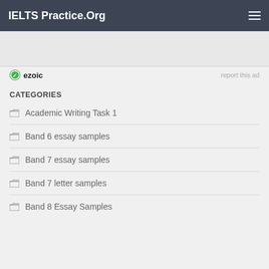IELTS Practice.Org
[Figure (logo): Ezoic logo with green circular icon and bold text 'ezoic']
report this ad
CATEGORIES
Academic Writing Task 1
Band 6 essay samples
Band 7 essay samples
Band 7 letter samples
Band 8 Essay Samples